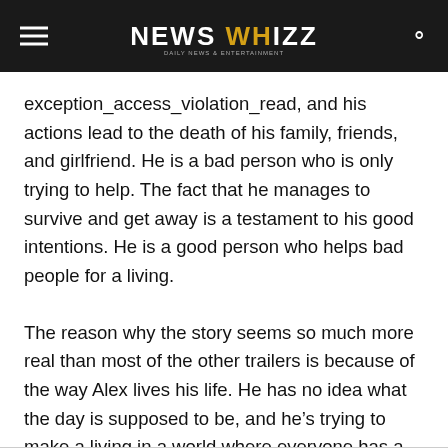NEWS WHIZZ
exception_access_violation_read, and his actions lead to the death of his family, friends, and girlfriend. He is a bad person who is only trying to help. The fact that he manages to survive and get away is a testament to his good intentions. He is a good person who helps bad people for a living.
The reason why the story seems so much more real than most of the other trailers is because of the way Alex lives his life. He has no idea what the day is supposed to be, and he's trying to make a living in a world where everyone has a job. He has a girlfriend, and he's in a relationship with a girl named Amanda who is the daughter of his father's best friend.